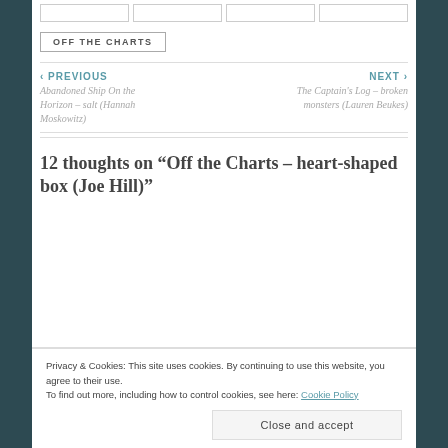[Figure (other): Navigation bar with placeholder boxes at the top of the page]
OFF THE CHARTS
‹ PREVIOUS
Abandoned Ship On the Horizon – salt (Hannah Moskowitz)
NEXT ›
The Captain's Log – broken monsters (Lauren Beukes)
12 thoughts on “Off the Charts – heart-shaped box (Joe Hill)”
Privacy & Cookies: This site uses cookies. By continuing to use this website, you agree to their use.
To find out more, including how to control cookies, see here: Cookie Policy
Close and accept